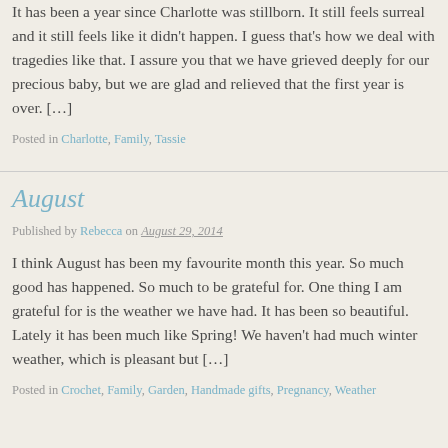It has been a year since Charlotte was stillborn. It still feels surreal and it still feels like it didn't happen. I guess that's how we deal with tragedies like that. I assure you that we have grieved deeply for our precious baby, but we are glad and relieved that the first year is over. […]
Posted in Charlotte, Family, Tassie
August
Published by Rebecca on August 29, 2014
I think August has been my favourite month this year. So much good has happened. So much to be grateful for. One thing I am grateful for is the weather we have had. It has been so beautiful. Lately it has been much like Spring! We haven't had much winter weather, which is pleasant but […]
Posted in Crochet, Family, Garden, Handmade gifts, Pregnancy, Weather